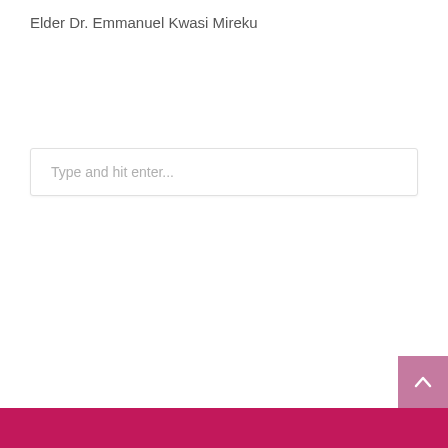Elder Dr. Emmanuel Kwasi Mireku
Type and hit enter...